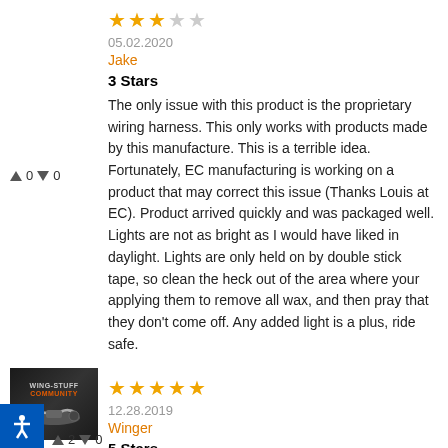[Figure (other): 3 out of 5 stars rating (3 filled orange stars, 2 empty gray stars)]
05.02.2020
Jake
3 Stars
The only issue with this product is the proprietary wiring harness. This only works with products made by this manufacture. This is a terrible idea. Fortunately, EC manufacturing is working on a product that may correct this issue (Thanks Louis at EC). Product arrived quickly and was packaged well. Lights are not as bright as I would have liked in daylight. Lights are only held on by double stick tape, so clean the heck out of the area where your applying them to remove all wax, and then pray that they don't come off. Any added light is a plus, ride safe.
[Figure (other): 5 out of 5 stars rating (5 filled orange stars)]
12.28.2019
Winger
5 Stars
[Figure (logo): Wing-Stuff Community logo with motorcycle image on dark background]
▲0 ▼0
▲2 ▼0